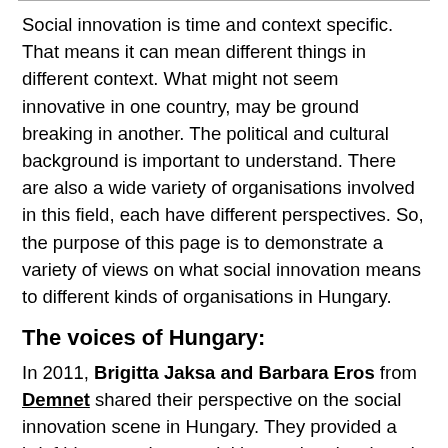Social innovation is time and context specific. That means it can mean different things in different context. What might not seem innovative in one country, may be ground breaking in another. The political and cultural background is important to understand. There are also a wide variety of organisations involved in this field, each have different perspectives. So, the purpose of this page is to demonstrate a variety of views on what social innovation means to different kinds of organisations in Hungary.
The voices of Hungary:
In 2011, Brigitta Jaksa and Barbara Eros from Demnet shared their perspective on the social innovation scene in Hungary. They provided a brief history on how social innovation developed in the country:
"The late 1980s unveiled a great need for social